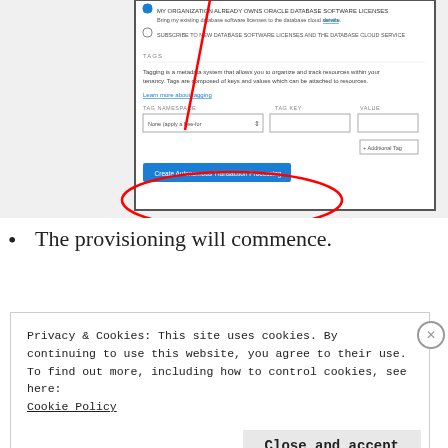[Figure (screenshot): Screenshot of Oracle Cloud database provisioning form showing tagging section with TAG NAMESPACE (None [apply a free-for] dropdown), TAG KEY and VALUE fields, an '+ Additional Tag' button, and a blue 'Create Autonomous Transaction Processing' button circled in red with a red arrow pointing to it.]
The provisioning will commence.
Privacy & Cookies: This site uses cookies. By continuing to use this website, you agree to their use.
To find out more, including how to control cookies, see here:
Cookie Policy
Close and accept